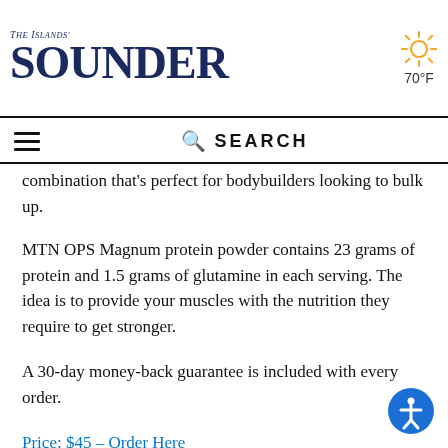THE ISLANDS' SOUNDER — 70°F
combination that's perfect for bodybuilders looking to bulk up.
MTN OPS Magnum protein powder contains 23 grams of protein and 1.5 grams of glutamine in each serving. The idea is to provide your muscles with the nutrition they require to get stronger.
A 30-day money-back guarantee is included with every order.
Price: $45 – Order Here
How to Rank Protein